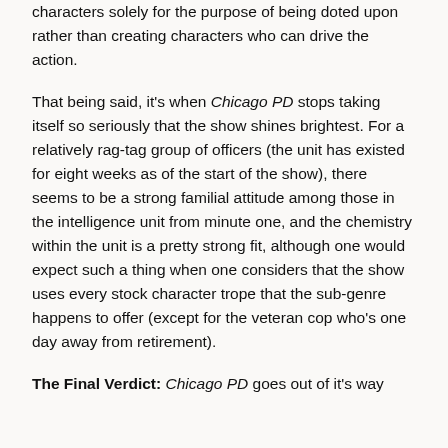characters solely for the purpose of being doted upon rather than creating characters who can drive the action.
That being said, it's when Chicago PD stops taking itself so seriously that the show shines brightest. For a relatively rag-tag group of officers (the unit has existed for eight weeks as of the start of the show), there seems to be a strong familial attitude among those in the intelligence unit from minute one, and the chemistry within the unit is a pretty strong fit, although one would expect such a thing when one considers that the show uses every stock character trope that the sub-genre happens to offer (except for the veteran cop who's one day away from retirement).
The Final Verdict: Chicago PD goes out of it's way